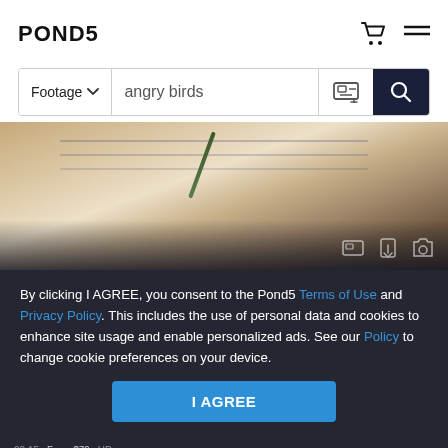POND5
Footage  angry birds
[Figure (photo): Child drawing in a spiral notebook with a pencil, viewed from behind, with a toy truck visible in the background. Bottom portion has a dark semi-transparent overlay.]
By clicking I AGREE, you consent to the Pond5 Terms of Use and Privacy Policy. This includes the use of personal data and cookies to enhance site usage and enable personalized ads. See our Policy to change cookie preferences on your device.
I AGREE